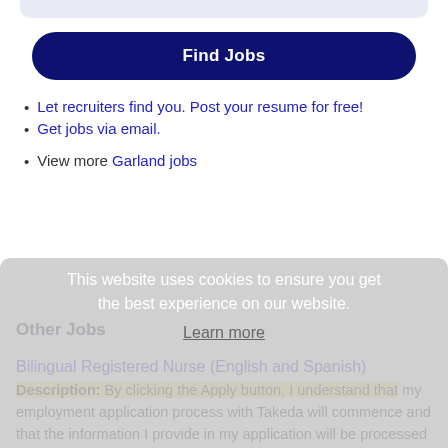[Figure (other): Blue rounded rectangle button with white bold text 'Find Jobs']
Let recruiters find you. Post your resume for free!
Get jobs via email.
View more Garland jobs
This website uses cookies to ensure you get the best experience on our website. Learn more
Other Jobs
Bilingual Registered Nurse (English and Spanish)
Description: By clicking the Apply button, I understand that my employment application process with Takeda will commence and that the information I provide in my application will be processed in line with Takeda's (more...)